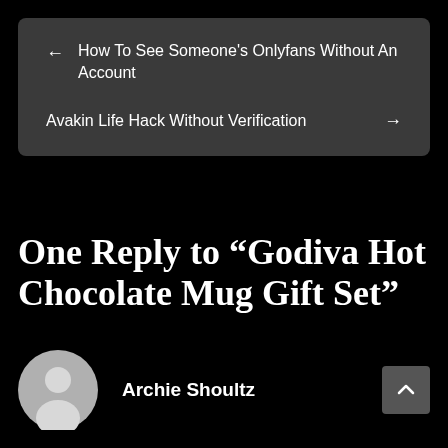[Figure (screenshot): Navigation box with dark gray background showing a back arrow link 'How To See Someone's Onlyfans Without An Account' and a forward arrow link 'Avakin Life Hack Without Verification']
One Reply to “Godiva Hot Chocolate Mug Gift Set”
[Figure (illustration): Generic gray user avatar circle with a silhouette figure]
Archie Shoultz